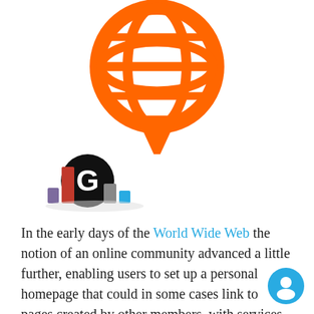[Figure (logo): Orange globe/world icon styled as a speech bubble or location pin, with grid lines forming latitude and longitude on a circular globe shape, pointing downward like a pin]
[Figure (logo): Small logo featuring a black circular 'G' letter with colorful 3D bar chart elements (red, purple, gray, blue) arranged around it]
In the early days of the World Wide Web the notion of an online community advanced a little further, enabling users to set up a personal homepage that could in some cases link to pages created by other members, with services
[Figure (other): Teal/cyan circular chat button with a white person/user icon in the lower right corner]